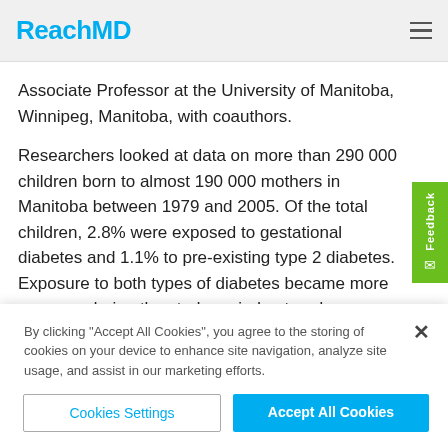ReachMD
Associate Professor at the University of Manitoba, Winnipeg, Manitoba, with coauthors.
Researchers looked at data on more than 290 000 children born to almost 190 000 mothers in Manitoba between 1979 and 2005. Of the total children, 2.8% were exposed to gestational diabetes and 1.1% to pre-existing type 2 diabetes. Exposure to both types of diabetes became more common during the study period, a trend seen elsewhere in the world.
The three most frequent diagnoses among offspring
By clicking "Accept All Cookies", you agree to the storing of cookies on your device to enhance site navigation, analyze site usage, and assist in our marketing efforts.